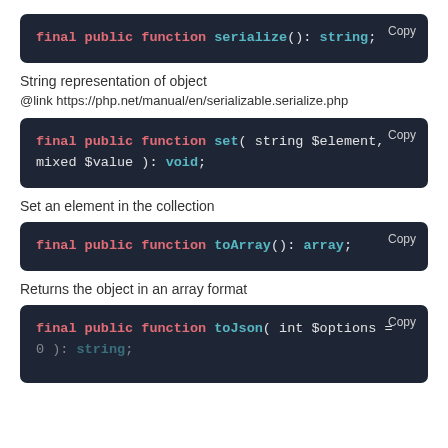[Figure (screenshot): Code block showing: final public function serialize(): string;]
String representation of object
@link https://php.net/manual/en/serializable.serialize.php
[Figure (screenshot): Code block showing: final public function set( string $element, mixed $value ): void;]
Set an element in the collection
[Figure (screenshot): Code block showing: final public function toArray(): array;]
Returns the object in an array format
[Figure (screenshot): Code block showing: final public function toJson( int $options =]